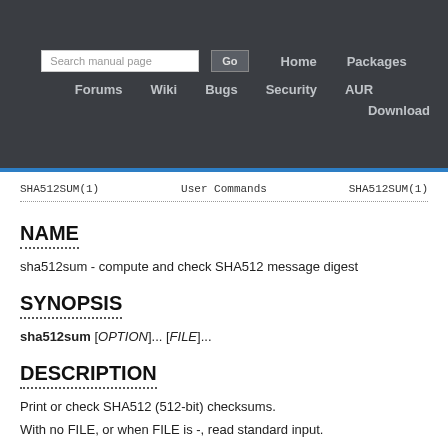Navigation bar with Search manual page, Go, Home, Packages, Forums, Wiki, Bugs, Security, AUR, Download
SHA512SUM(1)   User Commands   SHA512SUM(1)
NAME
sha512sum - compute and check SHA512 message digest
SYNOPSIS
sha512sum [OPTION]... [FILE]...
DESCRIPTION
Print or check SHA512 (512-bit) checksums.
With no FILE, or when FILE is -, read standard input.